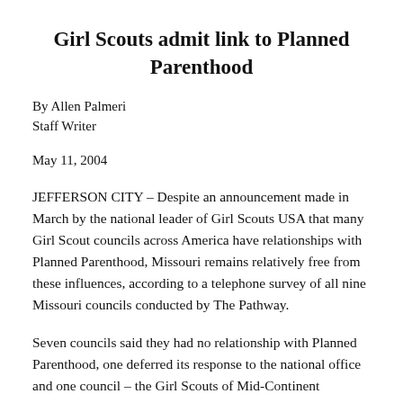Girl Scouts admit link to Planned Parenthood
By Allen Palmeri
Staff Writer
May 11, 2004
JEFFERSON CITY – Despite an announcement made in March by the national leader of Girl Scouts USA that many Girl Scout councils across America have relationships with Planned Parenthood, Missouri remains relatively free from these influences, according to a telephone survey of all nine Missouri councils conducted by The Pathway.
Seven councils said they had no relationship with Planned Parenthood, one deferred its response to the national office and one council – the Girl Scouts of Mid-Continent